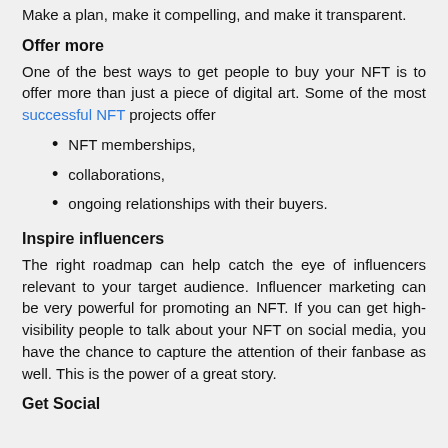Make a plan, make it compelling, and make it transparent.
Offer more
One of the best ways to get people to buy your NFT is to offer more than just a piece of digital art. Some of the most successful NFT projects offer
NFT memberships,
collaborations,
ongoing relationships with their buyers.
Inspire influencers
The right roadmap can help catch the eye of influencers relevant to your target audience. Influencer marketing can be very powerful for promoting an NFT. If you can get high-visibility people to talk about your NFT on social media, you have the chance to capture the attention of their fanbase as well. This is the power of a great story.
Get Social